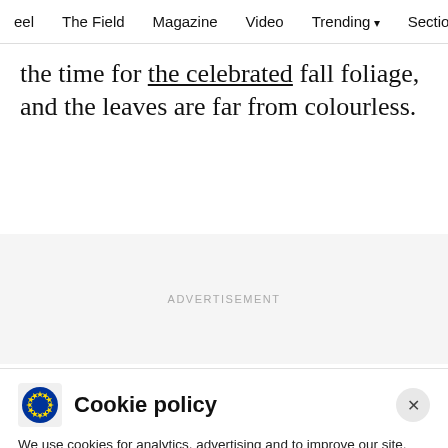eel  The Field  Magazine  Video  Trending  Sections
the time for the celebrated fall foliage, and the leaves are far from colourless.
ADVERTISEMENT
Cookie policy
We use cookies for analytics, advertising and to improve our site. You agree to our use of cookies by hitting 'Accept' button, closing this message box or continuing to use our site. To find out more see our Privacy policy .
Accept